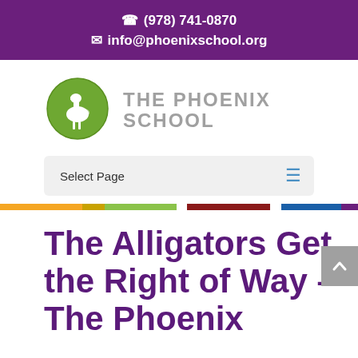(978) 741-0870
info@phoenixschool.org
[Figure (logo): The Phoenix School circular green logo with a white bird/heron illustration]
THE PHOENIX SCHOOL
Select Page
The Alligators Get the Right of Way – The Phoenix